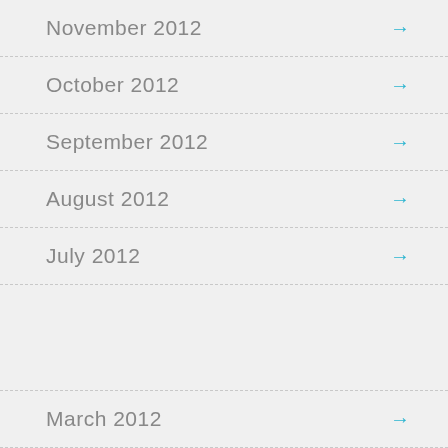November 2012
October 2012
September 2012
August 2012
July 2012
CLOSE
out our latest article
note: Ten years of the Sentinel Project
March 2012